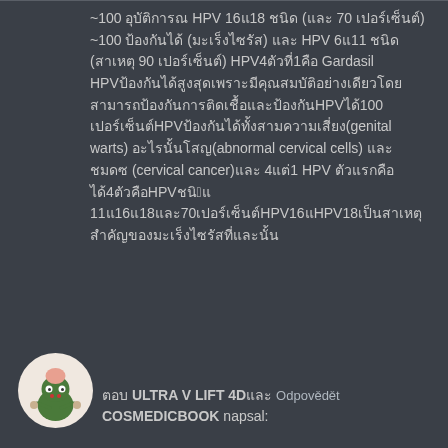~100 xxxxxxx HPV 16/18 xx (xxx 70 xxxxxxxx) ~100 xxxxxxxxxx (xxxxxxxxx) x HPV 6/11 xx xx (xxxxx 90 xxxxxxxxxxx) HPV4x1xxxxxxx Gardasil HPVxxxxxxxxxxxxxxxxxxxxxxxxxxxxxxxxxxxxxxxxxxxxxxxxxxxxxxxxxxxxxxxxxxxxxxxxxxxxxxHPVxx100 xxxxxxxxHPVxxxxxxxxxxxxxxxxx(genital warts) xxxxxxxx(abnormal cervical cells) xxxxxxxx (cervical cancer)x 4x1 HPV xxxxxxxxx4xxxHPVxxx6x 11x16x18xxx70xxxxxxxxxHPV16xHPV18xxxxxxxxxxxxxxxxxxxxxxxxxxxxxxxxxxxxxx
[Figure (illustration): Circular avatar with illustrated frog/alien character with brain on head, holding objects, on light pink/white background]
xxxx ULTRA V LIFT 4Dxx Odpovědět COSMEDICBOOK napsal: